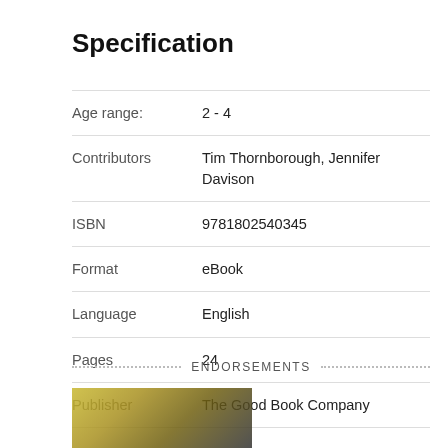Specification
| Field | Value |
| --- | --- |
| Age range: | 2 - 4 |
| Contributors | Tim Thornborough, Jennifer Davison |
| ISBN | 9781802540345 |
| Format | eBook |
| Language | English |
| Pages | 24 |
| Publisher | The Good Book Company |
ENDORSEMENTS
[Figure (photo): Partial view of a book cover with yellow/green and dark tones at the bottom of the page]